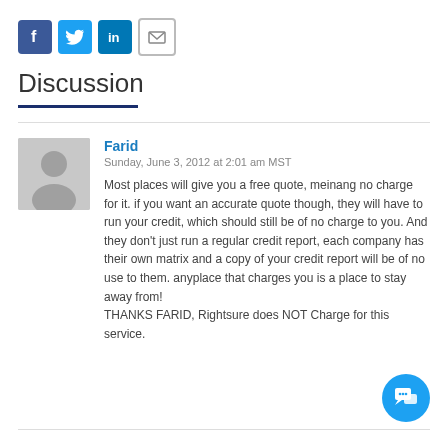[Figure (other): Social media share icons: Facebook, Twitter, LinkedIn, Email]
Discussion
Farid
Sunday, June 3, 2012 at 2:01 am MST

Most places will give you a free quote, meinang no charge for it. if you want an accurate quote though, they will have to run your credit, which should still be of no charge to you. And they don't just run a regular credit report, each company has their own matrix and a copy of your credit report will be of no use to them. anyplace that charges you is a place to stay away from!
THANKS FARID, Rightsure does NOT Charge for this service.